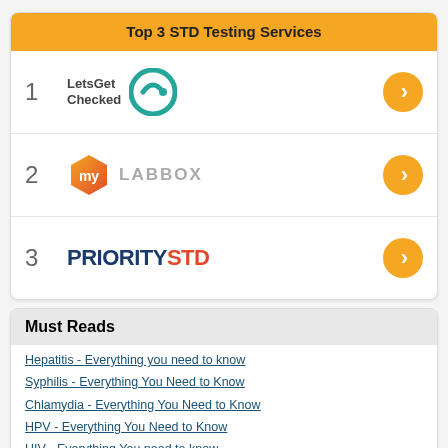Top 3 STD Testing Services
1 LetsGetChecked
2 myLABBOX
3 PRIORITYSTD
Must Reads
Hepatitis - Everything you need to know
Syphilis - Everything You Need to Know
Chlamydia - Everything You Need to Know
HPV - Everything You Need to Know
HIV - Everything You need to know
Trichomoniasis - Everything you need to know
Herpes - Everything you need to know